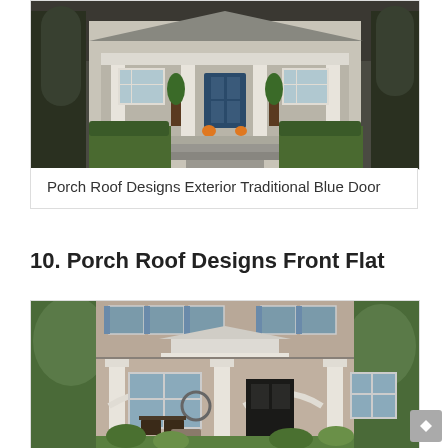[Figure (photo): Exterior photo of a traditional house with front porch, white columns, blue door, pumpkins on steps, landscaped front yard with walkway]
Porch Roof Designs Exterior Traditional Blue Door
10. Porch Roof Designs Front Flat
[Figure (photo): Exterior photo of a brick house with a large covered front porch, white columns with arches, rocking chairs, and lush green landscaping]